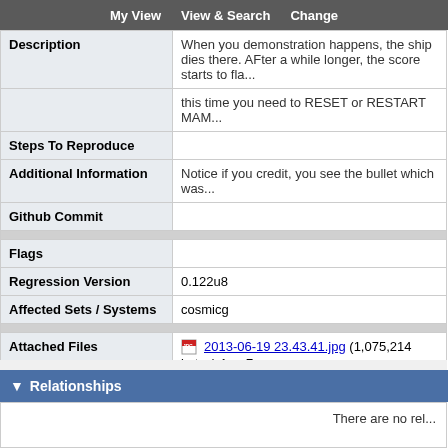My View   View & Search   Change
| Field | Value |
| --- | --- |
| Description | When you demonstration happens, the ship dies there. AFter a while longer, the score starts to fla... this time you need to RESET or RESTART MAM... |
| Steps To Reproduce |  |
| Additional Information | Notice if you credit, you see the bullet which was... |
| Github Commit |  |
| Flags |  |
| Regression Version | 0.122u8 |
| Affected Sets / Systems | cosmicg |
| Attached Files | 2013-06-19 23.43.41.jpg (1,075,214 bytes) Aug 7...
cosmicg PCB |
Relationships
There are no rel...